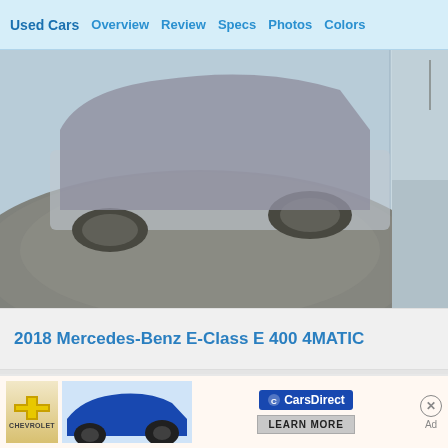Used Cars  Overview  Review  Specs  Photos  Colors
[Figure (photo): Top-down partial view of a Mercedes-Benz E-Class on a circular turntable platform in a dealership showroom, with a secondary strip of outdoor photo on the right]
2018 Mercedes-Benz E-Class E 400 4MATIC
[Figure (photo): Mercedes-Benz E-Class sedan driving on a road with a rocky backdrop, video thumbnail with play button overlay]
Mercedes-Benz E-Class
[Figure (photo): Partial view of a dark-colored sports car (teaser) on a light beige/cream background]
[Figure (photo): CarsDirect advertisement banner featuring a Chevrolet logo, a blue Camaro, the CarsDirect logo, and a LEARN MORE button]